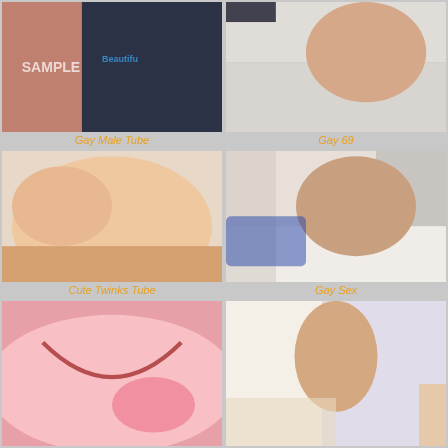[Figure (photo): Gay Male Tube thumbnail image]
Gay Male Tube
[Figure (photo): Gay 69 thumbnail image]
Gay 69
[Figure (photo): Cute Twinks Tube thumbnail image]
Cute Twinks Tube
[Figure (photo): Gay Sex thumbnail image]
Gay Sex
[Figure (photo): Bottom left thumbnail image]
[Figure (photo): Bottom right thumbnail image]